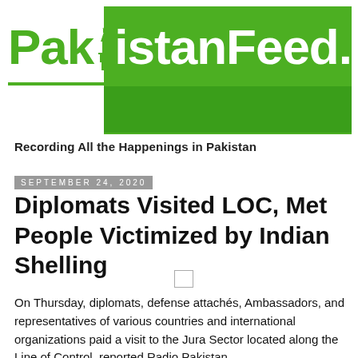[Figure (logo): PakistanFeed.com logo with green background and white text on right portion, green text on white on left portion, with minaret icon]
Recording All the Happenings in Pakistan
September 24, 2020
Diplomats Visited LOC, Met People Victimized by Indian Shelling
On Thursday, diplomats, defense attachés, Ambassadors, and representatives of various countries and international organizations paid a visit to the Jura Sector located along the Line of Control, reported Radio Pakistan.